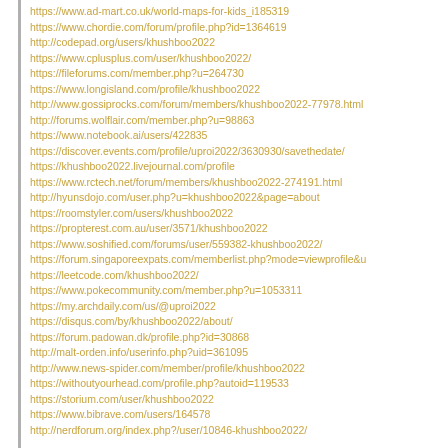https://www.ad-mart.co.uk/world-maps-for-kids_i185319
https://www.chordie.com/forum/profile.php?id=1364619
http://codepad.org/users/khushboo2022
https://www.cplusplus.com/user/khushboo2022/
https://fileforums.com/member.php?u=264730
https://www.longisland.com/profile/khushboo2022
http://www.gossiprocks.com/forum/members/khushboo2022-77978.html
http://forums.wolflair.com/member.php?u=98863
https://www.notebook.ai/users/422835
https://discover.events.com/profile/uproi2022/3630930/savethedate/
https://khushboo2022.livejournal.com/profile
https://www.rctech.net/forum/members/khushboo2022-274191.html
http://hyunsdojo.com/user.php?u=khushboo2022&page=about
https://roomstyler.com/users/khushboo2022
https://propterest.com.au/user/3571/khushboo2022
https://www.soshified.com/forums/user/559382-khushboo2022/
https://forum.singaporeexpats.com/memberlist.php?mode=viewprofile&u=
https://leetcode.com/khushboo2022/
https://www.pokecommunity.com/member.php?u=1053311
https://my.archdaily.com/us/@uproi2022
https://disqus.com/by/khushboo2022/about/
https://forum.padowan.dk/profile.php?id=30868
http://malt-orden.info/userinfo.php?uid=361095
http://www.news-spider.com/member/profile/khushboo2022
https://withoutyourhead.com/profile.php?autoid=119533
https://storium.com/user/khushboo2022
https://www.bibrave.com/users/164578
http://nerdforum.org/index.php?/user/10846-khushboo2022/